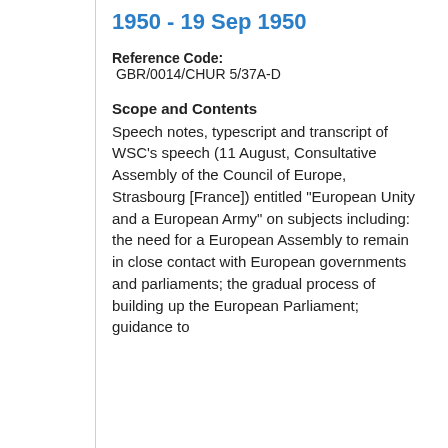1950 - 19 Sep 1950
Reference Code:
 GBR/0014/CHUR 5/37A-D
Scope and Contents
Speech notes, typescript and transcript of WSC's speech (11 August, Consultative Assembly of the Council of Europe, Strasbourg [France]) entitled "European Unity and a European Army" on subjects including: the need for a European Assembly to remain in close contact with European governments and parliaments; the gradual process of building up the European Parliament; guidance to